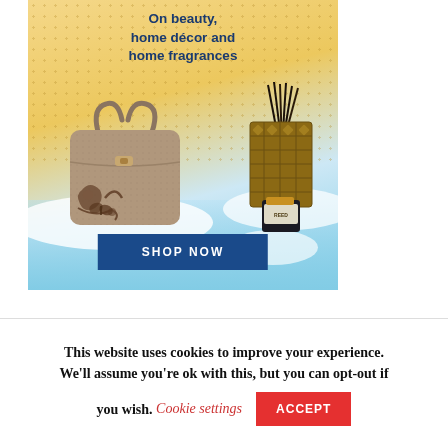[Figure (illustration): Promotional advertisement banner with warm sandy/gold gradient background with decorative dot pattern, transitioning to light blue at bottom. Features text 'On beauty, home décor and home fragrances', a taupe/brown handbag with floral embroidery and a reed diffuser with dark bottle. A dark blue 'SHOP NOW' button is displayed at the bottom center.]
This website uses cookies to improve your experience. We'll assume you're ok with this, but you can opt-out if you wish.
Cookie settings
ACCEPT